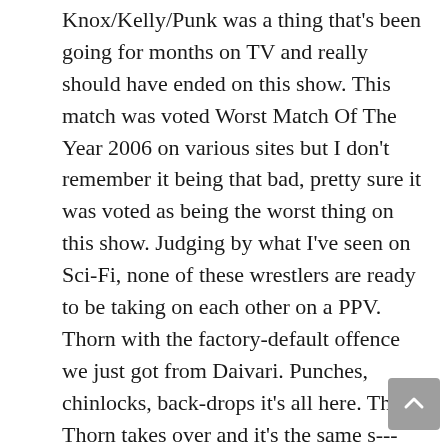Knox/Kelly/Punk was a thing that's been going for months on TV and really should have ended on this show. This match was voted Worst Match Of The Year 2006 on various sites but I don't remember it being that bad, pretty sure it was voted as being the worst thing on this show. Judging by what I've seen on Sci-Fi, none of these wrestlers are ready to be taking on each other on a PPV. Thorn with the factory-default offence we just got from Daivari. Punches, chinlocks, back-drops it's all here. Then Thorn takes over and it's the same s--- again! Knox throws in a clothesline or two and then it goes back to punches. Commentators don't even try to disguise the fact they don't care so they ogle Kelly and Ariel instead. Elbows and big boots by Thorn and Knox and back to another chinlock again. Ariel is getting cheered by the crowd for showing her arse so she shrieks and carries on. Ariel tags in so Kelly comes in now. Ariel kicks her and makes sure to stretch her legs